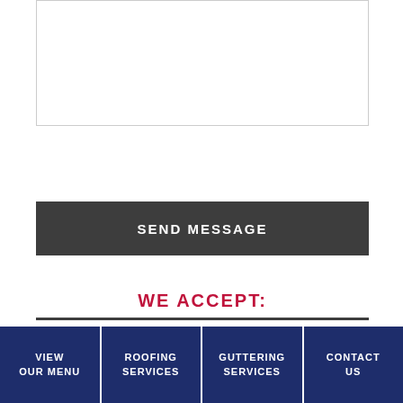[Figure (screenshot): Empty textarea input box with border]
SEND MESSAGE
WE ACCEPT:
[Figure (screenshot): Light grey placeholder area for accepted payment icons]
VIEW OUR MENU
ROOFING SERVICES
GUTTERING SERVICES
CONTACT US